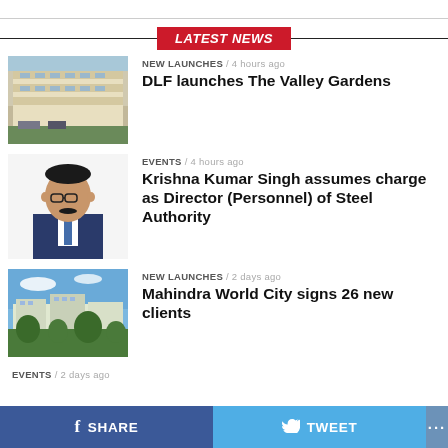LATEST NEWS
[Figure (photo): Apartment building exterior – DLF Valley Gardens]
NEW LAUNCHES / 4 hours ago
DLF launches The Valley Gardens
[Figure (photo): Portrait of Krishna Kumar Singh in suit]
EVENTS / 4 hours ago
Krishna Kumar Singh assumes charge as Director (Personnel) of Steel Authority
[Figure (photo): Aerial view of Mahindra World City campus]
NEW LAUNCHES / 2 days ago
Mahindra World City signs 26 new clients
EVENTS / 2 days ago
SHARE   TWEET   ...